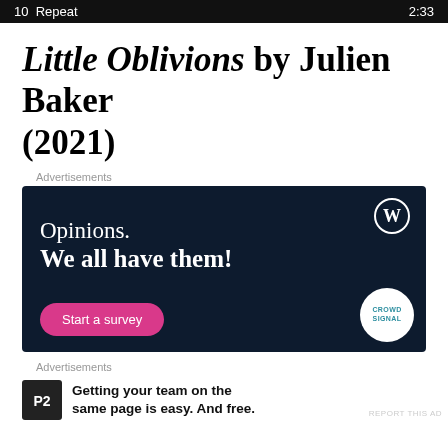10  Repeat    2:33
Little Oblivions by Julien Baker (2021)
Advertisements
[Figure (screenshot): Dark navy advertisement for Crowdsignal/WordPress survey tool. Shows WordPress logo (W in circle) top right, text 'Opinions. We all have them!', a pink 'Start a survey' button bottom left, and Crowdsignal logo bottom right.]
Advertisements
[Figure (screenshot): P2 advertisement with P2 logo and text: Getting your team on the same page is easy. And free.]